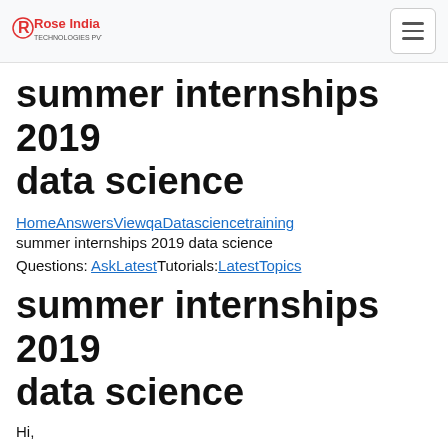Rose India [logo] [hamburger menu]
summer internships 2019 data science
HomeAnswersViewqaDatasciencetraining summer internships 2019 data science
Questions: AskLatestTutorials:LatestTopics
summer internships 2019 data science
Hi,
I am beginner in Data Science and machine learning field. I am searching for the tutorials to learn:
summer internships 2019 data science